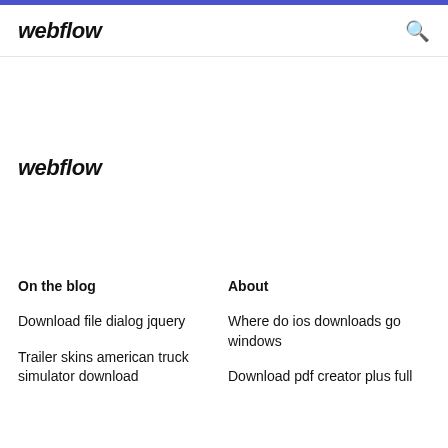webflow
webflow
On the blog
About
Download file dialog jquery
Where do ios downloads go windows
Trailer skins american truck simulator download
Download pdf creator plus full